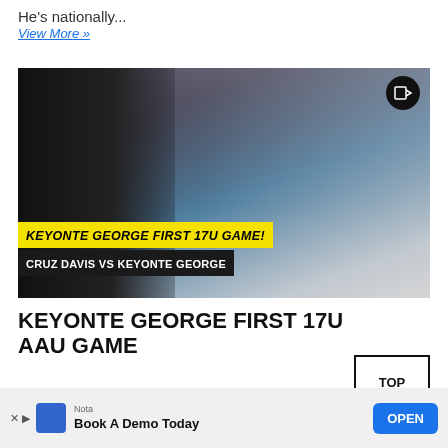He's nationally...
View More »
[Figure (photo): YouTube thumbnail showing Keyonte George dunking in a white #1 jersey, with another player in a dark shirt on the left. Text overlays read 'KEYONTE GEORGE FIRST 17U GAME!' in yellow/black and 'CRUZ DAVIS VS KEYONTE GEORGE' in white on black.]
KEYONTE GEORGE FIRST 17U AAU GAME
TOP
Nota
Book A Demo Today
OPEN